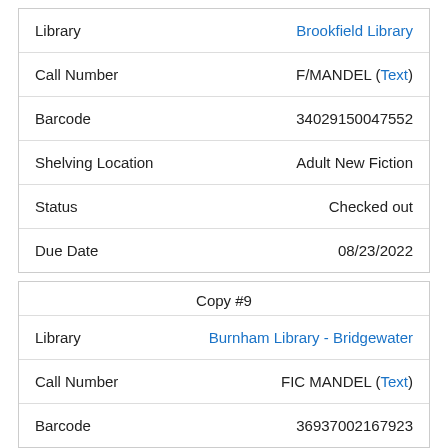| Field | Value |
| --- | --- |
| Library | Brookfield Library |
| Call Number | F/MANDEL (Text) |
| Barcode | 34029150047552 |
| Shelving Location | Adult New Fiction |
| Status | Checked out |
| Due Date | 08/23/2022 |
| Copy | Field | Value |
| --- | --- | --- |
| Copy #9 |  |  |
|  | Library | Burnham Library - Bridgewater |
|  | Call Number | FIC MANDEL (Text) |
|  | Barcode | 36937002167923 |